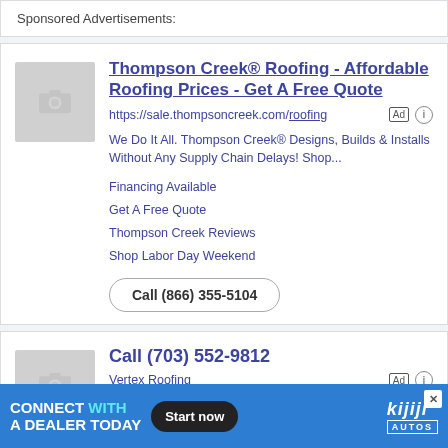Sponsored Advertisements:
[Figure (screenshot): Thompson Creek Roofing ad with placeholder image thumbnail, title, URL, description, sub-links, and call button]
[Figure (screenshot): Vertex Roofing ad with placeholder image thumbnail, phone number title, company name, and partial description]
[Figure (other): Kijiji Autos banner ad: CONNECT WITH A DEALER TODAY with Start now button and Kijiji Autos logo, close X button]